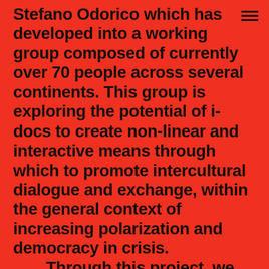Stefano Odorico which has developed into a working group composed of currently over 70 people across several continents. This group is exploring the potential of i-docs to create non-linear and interactive means through which to promote intercultural dialogue and exchange, within the general context of increasing polarization and democracy in crisis.
	Through this project, we are re-visiting the work of Russian philosopher Mikhail Bakhtin and looking at the relevance of what he wrote about the polyphonic novel to the evolving practices and forms of contemporary i-docs. While polyphony can be clearly found across a number of